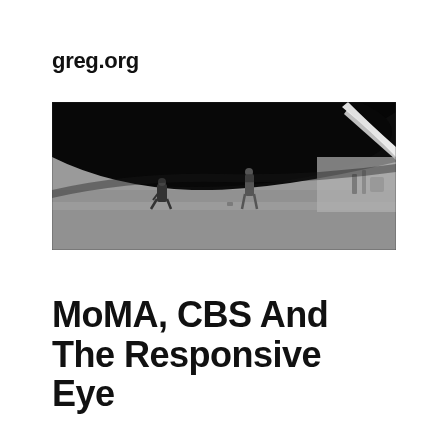greg.org
[Figure (photo): Black and white photograph showing two people dwarfed beneath a massive curved dark hull of a large vessel or structure, with bright light visible along the right edge. The scene appears to be in an industrial or shipyard setting.]
MoMA, CBS And The Responsive Eye